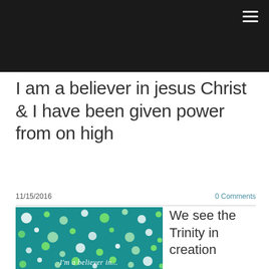I am a believer in jesus Christ & I have been given power from on high
11/15/2016    0 Comments
[Figure (illustration): Teal background with scattered white, light green, and green polka dots, with cursive text reading 'I'm a believer in...']
We see the Trinity in creation